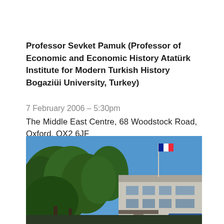Professor Sevket Pamuk (Professor of Economic and Economic History Atatürk Institute for Modern Turkish History Bogaziüi University, Turkey)
7 February 2006 – 5:30pm
The Middle East Centre, 68 Woodstock Road, Oxford, OX2 6JF
[Figure (photo): Exterior photo of The Middle East Centre building at 68 Woodstock Road, Oxford. A modern low-rise building with large windows is visible on the right, with mature green trees on the left and a flagpole with a flag flying under a clear blue sky.]